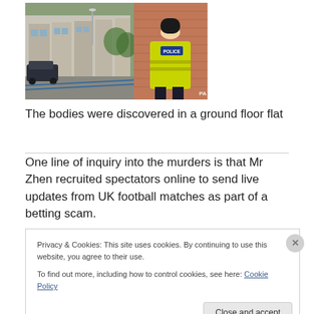[Figure (photo): A police officer in a high-visibility yellow jacket with 'POLICE' written on the back, wearing a black hat, standing in front of a row of terraced houses with a police cordon. A dark car is visible on the left side. PA watermark bottom right.]
The bodies were discovered in a ground floor flat
One line of inquiry into the murders is that Mr Zhen recruited spectators online to send live updates from UK football matches as part of a betting scam.
Privacy & Cookies: This site uses cookies. By continuing to use this website, you agree to their use.
To find out more, including how to control cookies, see here: Cookie Policy
Close and accept